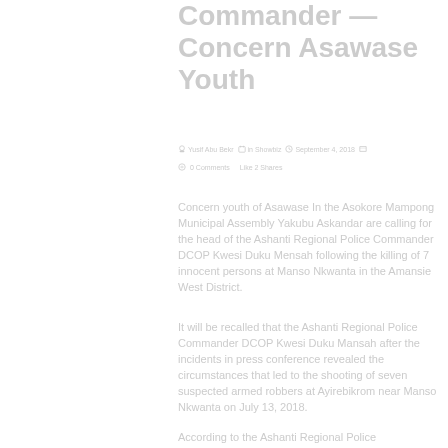Commander — Concern Asawase Youth
Concern youth of Asawase In the Asokore Mampong Municipal Assembly Yakubu Askandar are calling for the head of the Ashanti Regional Police Commander DCOP Kwesi Duku Mensah following the killing of 7 innocent persons at Manso Nkwanta in the Amansie West District.
It will be recalled that the Ashanti Regional Police Commander DCOP Kwesi Duku Mansah after the incidents in press conference revealed the circumstances that led to the shooting of seven suspected armed robbers at Ayirebikrom near Manso Nkwanta on July 13, 2018.
According to the Ashanti Regional Police Commander, DCOP Akwasi Mensah Duku, the seven out of eight suspected robbers were gunned down in the process of trading bullets with the